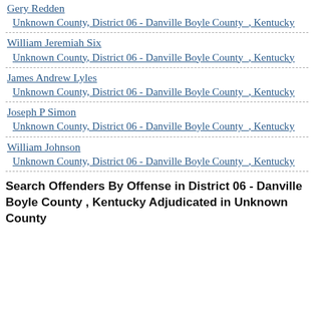Gery Redden
 Unknown County, District 06 - Danville Boyle County , Kentucky
William Jeremiah Six
 Unknown County, District 06 - Danville Boyle County , Kentucky
James Andrew Lyles
 Unknown County, District 06 - Danville Boyle County , Kentucky
Joseph P Simon
 Unknown County, District 06 - Danville Boyle County , Kentucky
William Johnson
 Unknown County, District 06 - Danville Boyle County , Kentucky
Search Offenders By Offense in District 06 - Danville Boyle County , Kentucky Adjudicated in Unknown County